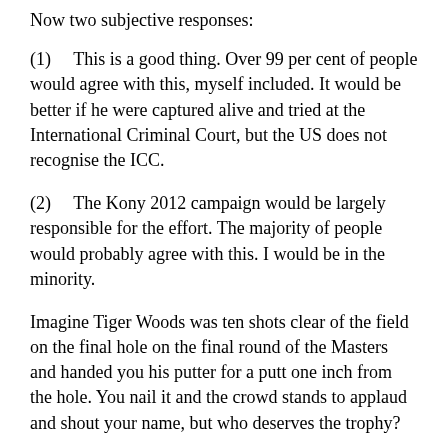Now two subjective responses:
(1)    This is a good thing. Over 99 per cent of people would agree with this, myself included. It would be better if he were captured alive and tried at the International Criminal Court, but the US does not recognise the ICC.
(2)    The Kony 2012 campaign would be largely responsible for the effort. The majority of people would probably agree with this. I would be in the minority.
Imagine Tiger Woods was ten shots clear of the field on the final hole on the final round of the Masters and handed you his putter for a putt one inch from the hole. You nail it and the crowd stands to applaud and shout your name, but who deserves the trophy?
As this article in Foreign Policy magazine (one of the most respected magazines in the world) points out, Kony's LRA is not in Uganda and has not been for about six years. The people of central Africa, including some political decision-makers as well as ordinary citizens, have been successful in calming a horrible